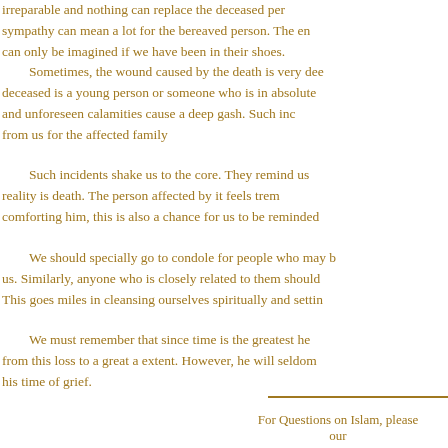irreparable and nothing can replace the deceased person. The sympathy can mean a lot for the bereaved person. The emotions can only be imagined if we have been in their shoes.
Sometimes, the wound caused by the death is very deep. The deceased is a young person or someone who is in absolute health and unforeseen calamities cause a deep gash. Such incidents require from us for the affected family
Such incidents shake us to the core. They remind us that reality is death. The person affected by it feels tremendous comforting him, this is also a chance for us to be reminded
We should specially go to condole for people who may be related to us. Similarly, anyone who is closely related to them should go too. This goes miles in cleansing ourselves spiritually and setting
We must remember that since time is the greatest healer, he will recover from this loss to a great a extent. However, he will seldom forget your support in his time of grief.
For Questions on Islam, please our